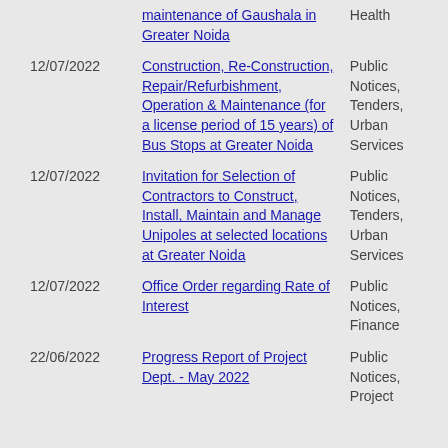| Date | Title | Category |
| --- | --- | --- |
|  | maintenance of Gaushala in Greater Noida | Health |
| 12/07/2022 | Construction, Re-Construction, Repair/Refurbishment, Operation & Maintenance (for a license period of 15 years) of Bus Stops at Greater Noida | Public Notices, Tenders, Urban Services |
| 12/07/2022 | Invitation for Selection of Contractors to Construct, Install, Maintain and Manage Unipoles at selected locations at Greater Noida | Public Notices, Tenders, Urban Services |
| 12/07/2022 | Office Order regarding Rate of Interest | Public Notices, Finance |
| 22/06/2022 | Progress Report of Project Dept. - May 2022 | Public Notices, Project |